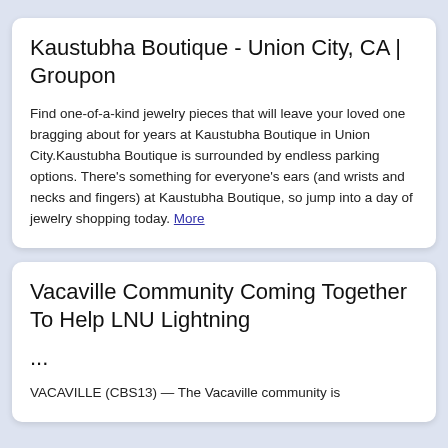Kaustubha Boutique - Union City, CA | Groupon
Find one-of-a-kind jewelry pieces that will leave your loved one bragging about for years at Kaustubha Boutique in Union City.Kaustubha Boutique is surrounded by endless parking options. There's something for everyone's ears (and wrists and necks and fingers) at Kaustubha Boutique, so jump into a day of jewelry shopping today. More
Vacaville Community Coming Together To Help LNU Lightning ...
VACAVILLE (CBS13) — The Vacaville community is